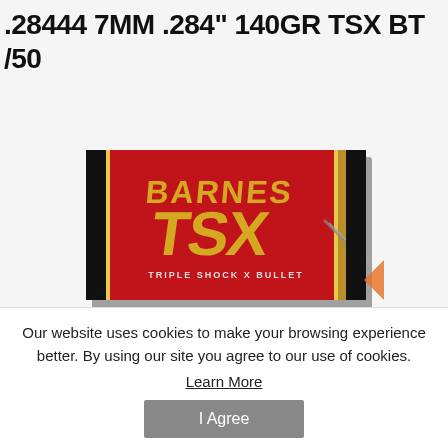.28444 7MM .284" 140GR TSX BT /50
[Figure (photo): Barnes TSX Triple Shock X Bullet product box in red and black packaging, photographed at an angle showing the front face of the box with BARNES TSX and TRIPLE SHOCK X BULLET text visible.]
Our website uses cookies to make your browsing experience better. By using our site you agree to our use of cookies.
Learn More
I Agree